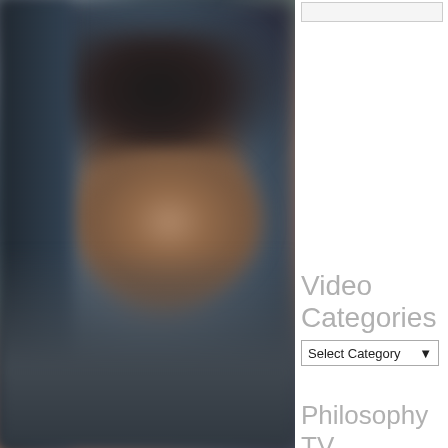[Figure (photo): Blurry close-up portrait of a person's face against a dark grey/teal background, cropped to show partial face]
Video Categories
Select Category
Philosophy
TV
Managing